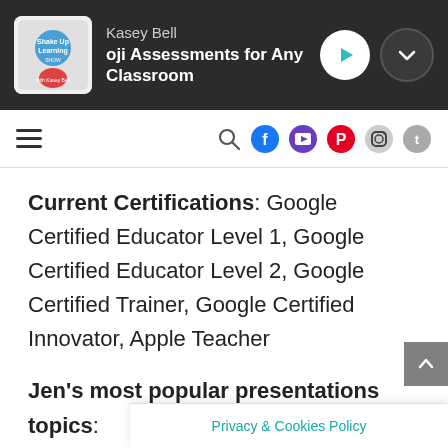Kasey Bell — oji Assessments for Any Classroom
Current Certifications: Google Certified Educator Level 1, Google Certified Educator Level 2, Google Certified Trainer, Google Certified Innovator, Apple Teacher
Jen's most popular presentations topics: Sketchnoting, Google tools, keynotes, a...
Privacy & Cookies Policy